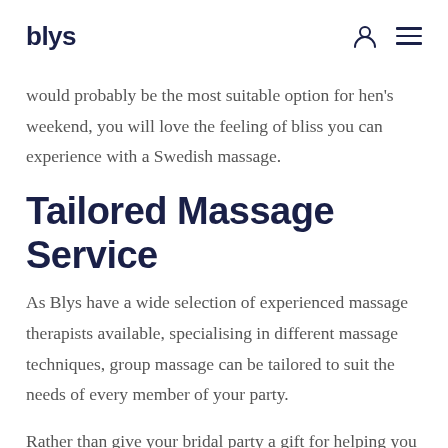blys
would probably be the most suitable option for hen's weekend, you will love the feeling of bliss you can experience with a Swedish massage.
Tailored Massage Service
As Blys have a wide selection of experienced massage therapists available, specialising in different massage techniques, group massage can be tailored to suit the needs of every member of your party.
Rather than give your bridal party a gift for helping you prepare your wedding, paying for a group massage is a fantastic way to say thank you. It will also be a fond